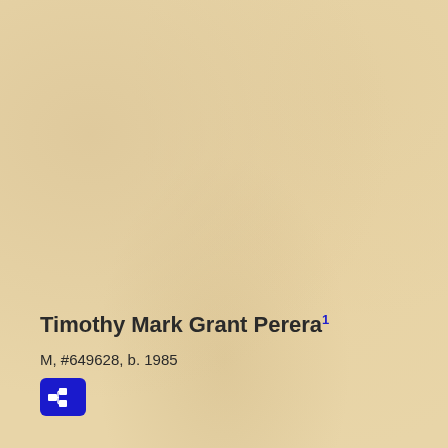Timothy Mark Grant Perera¹
M, #649628, b. 1985
[Figure (other): Blue pedigree/family tree icon button with branching nodes symbol]